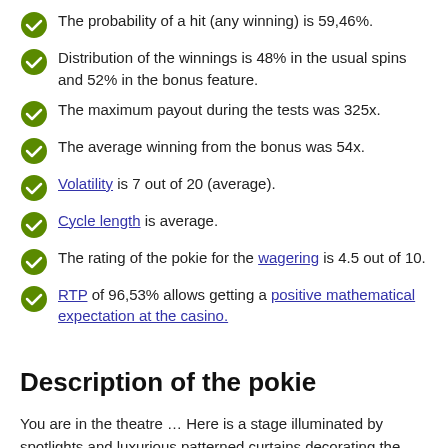The probability of a hit (any winning) is 59,46%.
Distribution of the winnings is 48% in the usual spins and 52% in the bonus feature.
The maximum payout during the tests was 325x.
The average winning from the bonus was 54x.
Volatility is 7 out of 20 (average).
Cycle length is average.
The rating of the pokie for the wagering is 4.5 out of 10.
RTP of 96,53% allows getting a positive mathematical expectation at the casino.
Description of the pokie
You are in the theatre … Here is a stage illuminated by spotlights and luxurious patterned curtains decorating the playing field on both sides. Above the reel, the orchestra is always been waiting at the base camp was arrived.